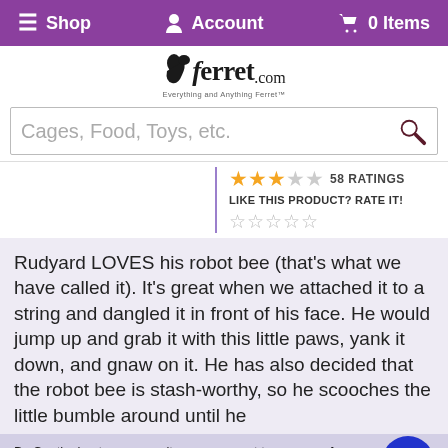☰ Shop   👤 Account   🛒 0 Items
[Figure (logo): ferret.com logo with ferret silhouette and tagline]
Cages, Food, Toys, etc.
★★★☆☆ 58 RATINGS
LIKE THIS PRODUCT? RATE IT!
☆☆☆☆☆
Rudyard LOVES his robot bee (that's what we have called it). It's great when we attached it to a string and dangled it in front of his face. He would jump up and grab it with this little paws, yank it down, and gnaw on it. He has also decided that the robot bee is stash-worthy, so he scooches the little bumble around until he
By Continuing to use our site, you consent to our use of cookies improve your experience. Learn more
broke, but only after a year's worth of use and wrestling with it. It's also not finished as a toy;